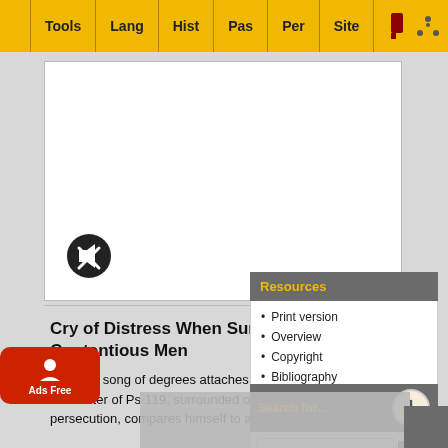Tools | Lang | Hist | Pas | Per | Site
[Figure (screenshot): White content box with mute/speaker icon overlay]
Cry of Distress When Surrounded by Contentious Men
This first song of degrees attaches itself to Psalms 119:176. The writer of Ps 119, surrounded on all sides by apostasy and persecution, compares himself to a sheep that is eas... has to...
Resources
Print version
Overview
Copyright
Bibliography
Search for...